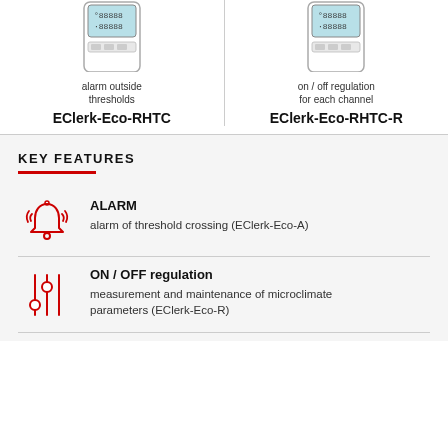[Figure (illustration): EClerk-Eco-RHTC device with display showing readings]
alarm outside thresholds
EClerk-Eco-RHTC
[Figure (illustration): EClerk-Eco-RHTC-R device with display showing readings]
on / off regulation for each channel
EClerk-Eco-RHTC-R
KEY FEATURES
ALARM — alarm of threshold crossing (EClerk-Eco-A)
ON / OFF regulation — measurement and maintenance of microclimate parameters (EClerk-Eco-R)